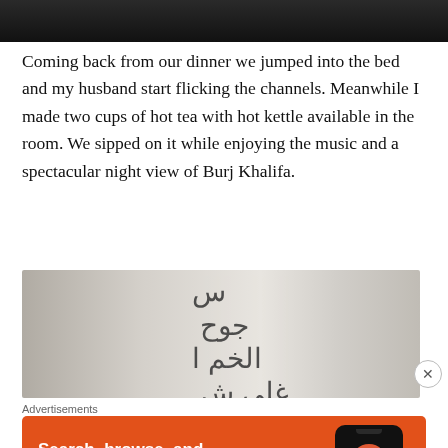[Figure (photo): Top portion of a dark photo, cropped, showing a person in a dimly lit scene]
Coming back from our dinner we jumped into the bed and my husband start flicking the channels. Meanwhile I made two cups of hot tea with hot kettle available in the room. We sipped on it while enjoying the music and a spectacular night view of Burj Khalifa.
[Figure (photo): Hotel room interior with white walls featuring Arabic calligraphy art, showing a modern room with pendant lights]
Advertisements
[Figure (screenshot): DuckDuckGo advertisement banner: Search, browse, and email with more privacy. All in One Free App. Shows phone with DuckDuckGo logo.]